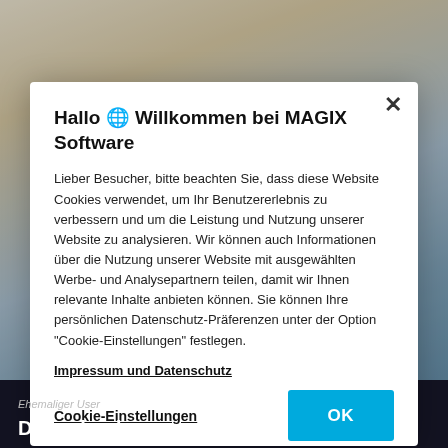[Figure (photo): Background photo showing sky with sunlight and clouds, with dark bottom bar showing website content]
Hallo 🌍 Willkommen bei MAGIX Software
Lieber Besucher, bitte beachten Sie, dass diese Website Cookies verwendet, um Ihr Benutzererlebnis zu verbessern und um die Leistung und Nutzung unserer Website zu analysieren. Wir können auch Informationen über die Nutzung unserer Website mit ausgewählten Werbe- und Analysepartnern teilen, damit wir Ihnen relevante Inhalte anbieten können. Sie können Ihre persönlichen Datenschutz-Präferenzen unter der Option "Cookie-Einstellungen" festlegen.
Impressum und Datenschutz
Cookie-Einstellungen
OK
Ehemaliger User
Dreamland